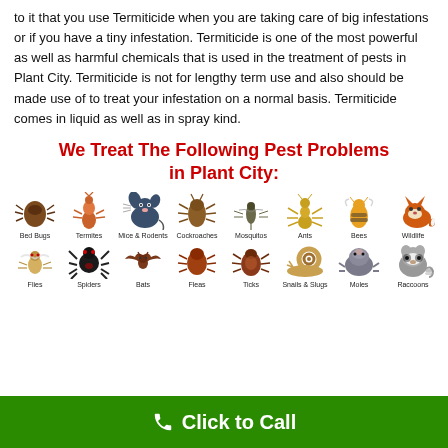to it that you use Termiticide when you are taking care of big infestations or if you have a tiny infestation. Termiticide is one of the most powerful as well as harmful chemicals that is used in the treatment of pests in Plant City. Termiticide is not for lengthy term use and also should be made use of to treat your infestation on a normal basis. Termiticide comes in liquid as well as in spray kind.
We Treat The Following Pest Problems in Plant City:
[Figure (illustration): Grid of pest illustrations in two rows. Row 1: Bed Bugs, Termites, Mice & Rodents, Cockroaches, Mosquitos, Ants, Bees, Wildlife. Row 2: Flies, Spiders, Bats, Fleas, Ticks, Snails & Slugs, Moles, Raccoons.]
Click to Call